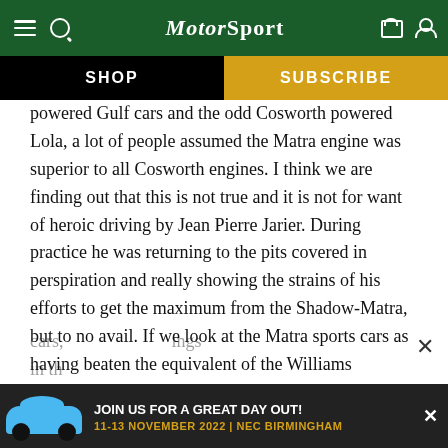MotorSport — SHOP | SUBSCRIBE
powered Gulf cars and the odd Cosworth powered Lola, a lot of people assumed the Matra engine was superior to all Cosworth engines. I think we are finding out that this is not true and it is not for want of heroic driving by Jean Pierre Jarier. During practice he was returning to the pits covered in perspiration and really showing the strains of his efforts to get the maximum from the Shadow-Matra, but to no avail. If we look at the Matra sports cars as having beaten the equivalent of the Williams cars, ings in th
[Figure (screenshot): Advertisement banner: JOIN US FOR A GREAT DAY OUT! 11-13 NOVEMBER 2022 | NEC BIRMINGHAM, with blue Porsche 911 car image on dark background]